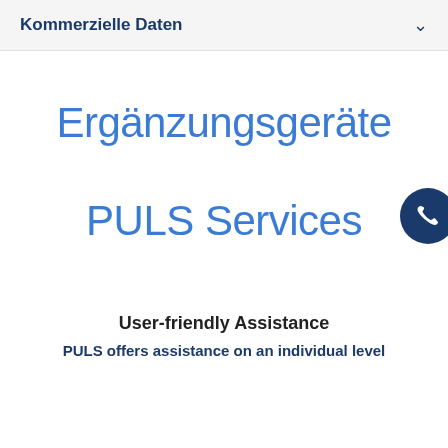Kommerzielle Daten
Ergänzungsgeräte
PULS Services
User-friendly Assistance
PULS offers assistance on an individual level